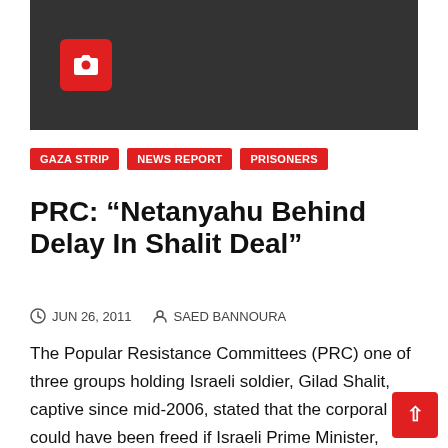[Figure (photo): Dark gray placeholder image with a red camera icon in the upper left area]
GAZA STRIP
NEWS REPORT
PRISONERS
PRC: “Netanyahu Behind Delay In Shalit Deal”
JUN 26, 2011   SAED BANNOURA
The Popular Resistance Committees (PRC) one of three groups holding Israeli soldier, Gilad Shalit, captive since mid-2006, stated that the corporal could have been freed if Israeli Prime Minister, Benjamin…